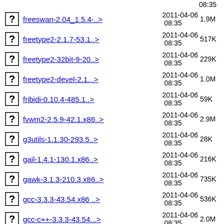08:35
freeswan-2.04_1.5.4-..> 2011-04-06 08:35 1.9M
freetype2-2.1.7-53.1..> 2011-04-06 08:35 517K
freetype2-32bit-9-20..> 2011-04-06 08:35 229K
freetype2-devel-2.1...> 2011-04-06 08:35 1.0M
fribidi-0.10.4-485.1..> 2011-04-06 08:35 59K
fvwm2-2.5.9-42.1.x86..> 2011-04-06 08:35 2.9M
g3utils-1.1.30-293.5..> 2011-04-06 08:35 28K
gail-1.4.1-130.1.x86..> 2011-04-06 08:35 216K
gawk-3.1.3-210.3.x86..> 2011-04-06 08:35 735K
gcc-3.3.3-43.54.x86 ..> 2011-04-06 08:35 536K
gcc-c++-3.3.3-43.54...> 2011-04-06 08:35 2.0M